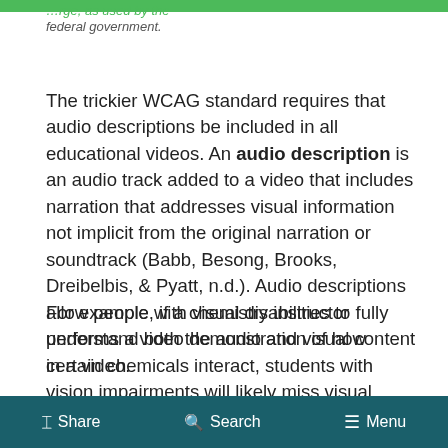federal government.
The trickier WCAG standard requires that audio descriptions be included in all educational videos. An audio description is an audio track added to a video that includes narration that addresses visual information not implicit from the original narration or soundtrack (Babb, Besong, Brooks, Dreibelbis, & Pyatt, n.d.). Audio descriptions allow people with visual disabilities to fully understand both the audio and visual content in a video.
For example, if a chemistry instructor performs a video demonstration of how certain chemicals interact, students with vision impairments will likely miss visual details such as how gently he mixes the
Share  Search  Menu